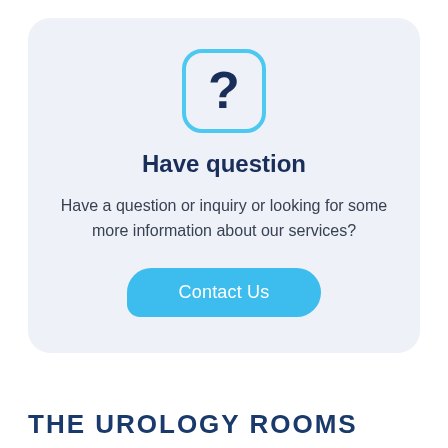[Figure (illustration): Question mark icon inside a rounded square outline in light blue color, with a dark blue question mark symbol inside]
Have question
Have a question or inquiry or looking for some more information about our services?
Contact Us
THE UROLOGY ROOMS